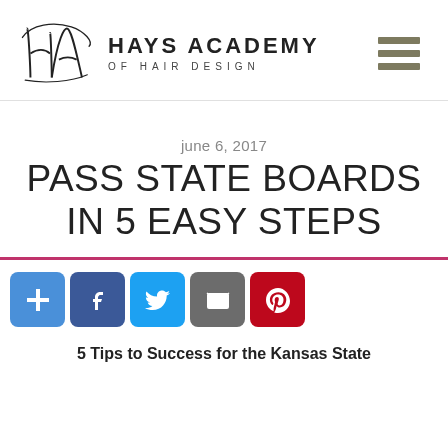[Figure (logo): Hays Academy of Hair Design logo with stylized HA monogram and text]
june 6, 2017
PASS STATE BOARDS IN 5 EASY STEPS
[Figure (infographic): Social sharing buttons: Add, Facebook, Twitter, Email, Pinterest]
5 Tips to Success for the Kansas State